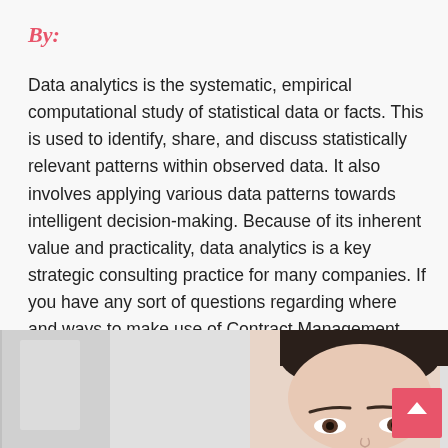By:
Data analytics is the systematic, empirical computational study of statistical data or facts. This is used to identify, share, and discuss statistically relevant patterns within observed data. It also involves applying various data patterns towards intelligent decision-making. Because of its inherent value and practicality, data analytics is a key strategic consulting practice for many companies. If you have any sort of questions regarding where and ways to make use of Contract Management Software, you could contact us at the webpage.
[Figure (photo): Bottom section showing a partial view of a woman's face (forehead and eyes visible) on the right side, with a blurred office/room background on the left, and a pink scroll-to-top button in the bottom right corner.]